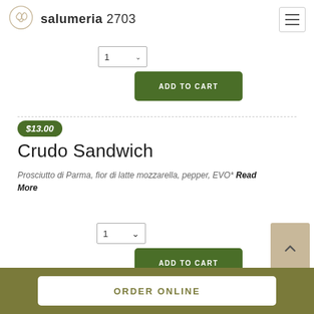salumeria 2703
[Figure (other): Quantity selector dropdown showing '1' with a chevron]
[Figure (other): ADD TO CART button (green)]
$13.00
Crudo Sandwich
Prosciutto di Parma, fior di latte mozzarella, pepper, EVO* Read More
[Figure (other): Quantity selector dropdown showing '1' with a chevron]
[Figure (other): ADD TO CART button (green)]
ORDER ONLINE